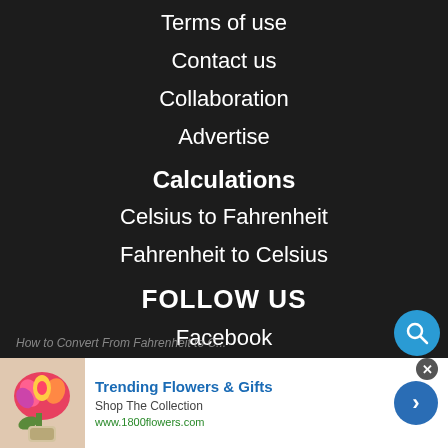Terms of use
Contact us
Collaboration
Advertise
Calculations
Celsius to Fahrenheit
Fahrenheit to Celsius
FOLLOW US
Facebook
Instagram
How to Convert From Fahrenheit to C...
[Figure (other): Advertisement banner for 1800flowers.com - Trending Flowers & Gifts. Shows a flower bouquet image, title 'Trending Flowers & Gifts', subtitle 'Shop The Collection', URL 'www.1800flowers.com', and a blue arrow button.]